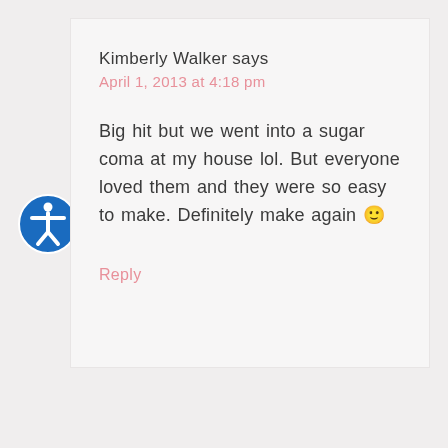Kimberly Walker says
April 1, 2013 at 4:18 pm
Big hit but we went into a sugar coma at my house lol. But everyone loved them and they were so easy to make. Definitely make again 🙂
Reply